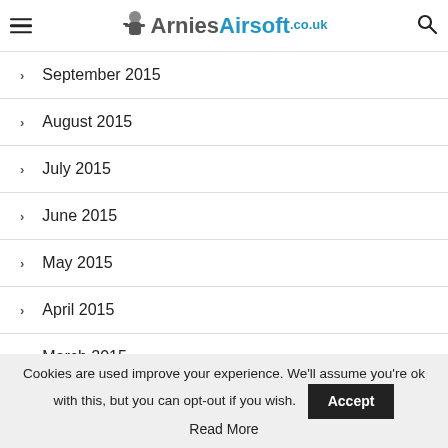ArniesAirsoft.co.uk
September 2015
August 2015
July 2015
June 2015
May 2015
April 2015
March 2015
Cookies are used improve your experience. We'll assume you're ok with this, but you can opt-out if you wish. Accept
Read More